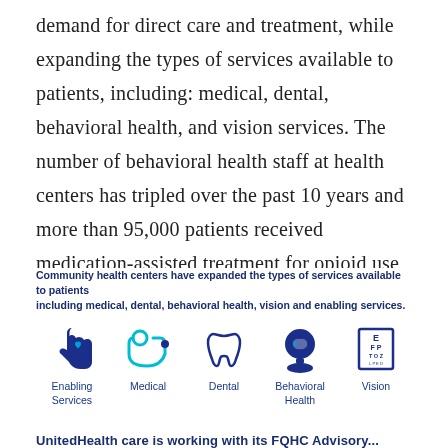demand for direct care and treatment, while expanding the types of services available to patients, including: medical, dental, behavioral health, and vision services. The number of behavioral health staff at health centers has tripled over the past 10 years and more than 95,000 patients received medication-assisted treatment for opioid use disorder at a local health center in 2018.
[Figure (infographic): Community health centers have expanded the types of services available to patients including medical, dental, behavioral health, vision and enabling services. Five icons shown: Enabling Services (hand with heart), Medical (stethoscope), Dental (tooth), Behavioral Health (head with brain), Vision (eye chart).]
UnitedHealth care is working with its FQHC Advisory...